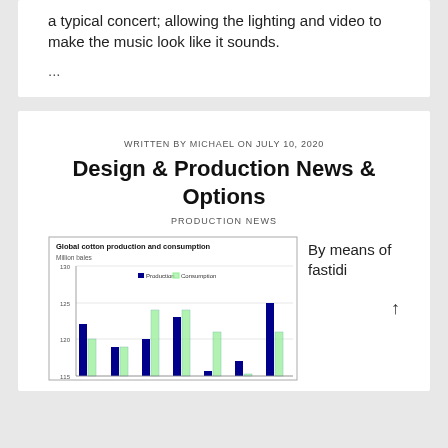a typical concert; allowing the lighting and video to make the music look like it sounds.
...
WRITTEN BY MICHAEL ON JULY 10, 2020
Design & Production News & Options
PRODUCTION NEWS
[Figure (bar-chart): Global cotton production and consumption]
By means of fastidi